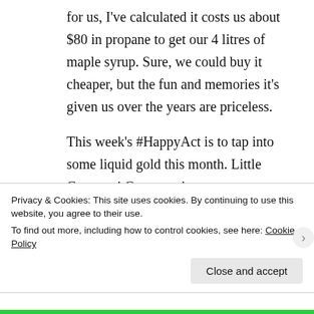for us, I've calculated it costs us about $80 in propane to get our 4 litres of maple syrup. Sure, we could buy it cheaper, but the fun and memories it's given us over the years are priceless.
This week's #HappyAct is to tap into some liquid gold this month. Little Cataraqui Conservation
Privacy & Cookies: This site uses cookies. By continuing to use this website, you agree to their use.
To find out more, including how to control cookies, see here: Cookie Policy